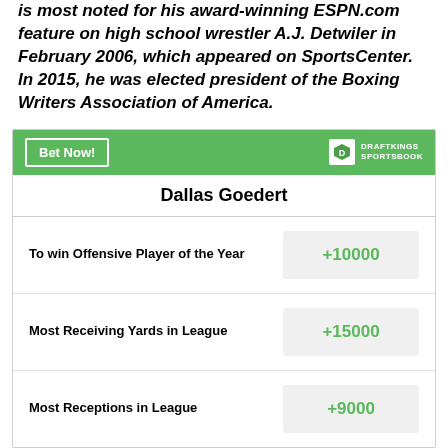is most noted for his award-winning ESPN.com feature on high school wrestler A.J. Detwiler in February 2006, which appeared on SportsCenter. In 2015, he was elected president of the Boxing Writers Association of America.
| Bet Type | Odds |
| --- | --- |
| To win Offensive Player of the Year | +10000 |
| Most Receiving Yards in League | +15000 |
| Most Receptions in League | +9000 |